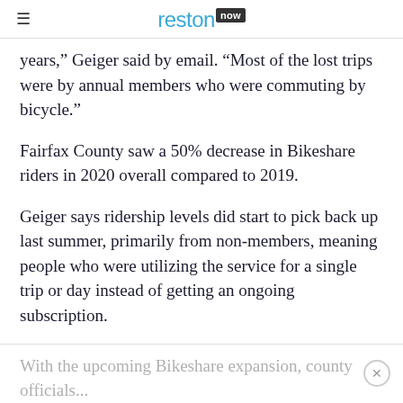reston now
years,” Geiger said by email. “Most of the lost trips were by annual members who were commuting by bicycle.”
Fairfax County saw a 50% decrease in Bikeshare riders in 2020 overall compared to 2019.
Geiger says ridership levels did start to pick back up last summer, primarily from non-members, meaning people who were utilizing the service for a single trip or day instead of getting an ongoing subscription.
“Usage patterns systemwide changed as well, with fewer trips to Metro stations, but more to recreational locations, and grocery stores,” she said.
With the upcoming Bikeshare expansion, county officials...